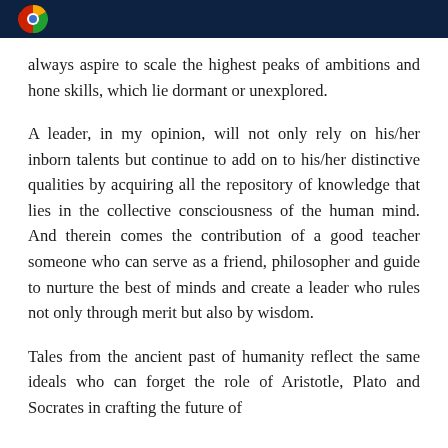always aspire to scale the highest peaks of ambitions and hone skills, which lie dormant or unexplored.
A leader, in my opinion, will not only rely on his/her inborn talents but continue to add on to his/her distinctive qualities by acquiring all the repository of knowledge that lies in the collective consciousness of the human mind. And therein comes the contribution of a good teacher someone who can serve as a friend, philosopher and guide to nurture the best of minds and create a leader who rules not only through merit but also by wisdom.
Tales from the ancient past of humanity reflect the same ideals who can forget the role of Aristotle, Plato and Socrates in crafting the future of